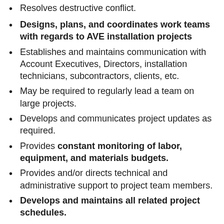Resolves destructive conflict.
Designs, plans, and coordinates work teams with regards to AVE installation projects
Establishes and maintains communication with Account Executives, Directors, installation technicians, subcontractors, clients, etc.
May be required to regularly lead a team on large projects.
Develops and communicates project updates as required.
Provides constant monitoring of labor, equipment, and materials budgets.
Provides and/or directs technical and administrative support to project team members.
Develops and maintains all related project schedules.
Performs field verification of prospective work site. Documents all issues with site and keeps everyone informed of potential issues and solutions.
Coordinates all drawings and documentation between all internal and external stakeholders.
Coordinates all system programming and final